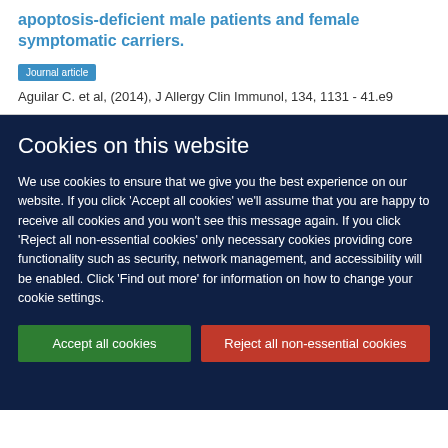apoptosis-deficient male patients and female symptomatic carriers.
Journal article
Aguilar C. et al, (2014), J Allergy Clin Immunol, 134, 1131 - 41.e9
Cookies on this website
We use cookies to ensure that we give you the best experience on our website. If you click 'Accept all cookies' we'll assume that you are happy to receive all cookies and you won't see this message again. If you click 'Reject all non-essential cookies' only necessary cookies providing core functionality such as security, network management, and accessibility will be enabled. Click 'Find out more' for information on how to change your cookie settings.
Accept all cookies
Reject all non-essential cookies